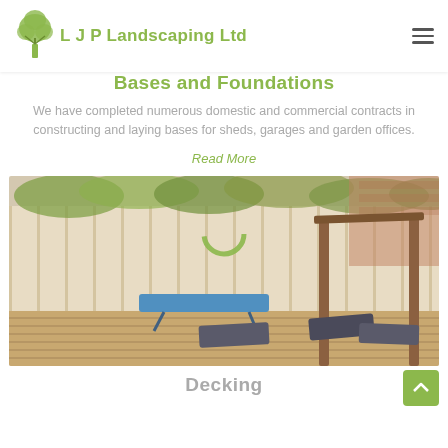L J P Landscaping Ltd
Bases and Foundations
We have completed numerous domestic and commercial contracts in constructing and laying bases for sheds, garages and garden offices.
Read More
[Figure (photo): A garden decking area with a wooden pergola, blue folding table, lounge chairs, wooden fence panels, and greenery/ivy in the background. Brick building visible on the right.]
Decking